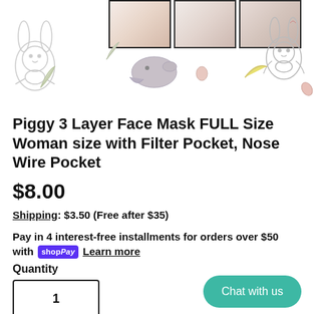[Figure (photo): Product thumbnail images of a floral face mask and decorative bunny/animal illustrations on white background]
Piggy 3 Layer Face Mask FULL Size Woman size with Filter Pocket, Nose Wire Pocket
$8.00
Shipping: $3.50 (Free after $35)
Pay in 4 interest-free installments for orders over $50 with shopPay Learn more
Quantity
1
(1 available)